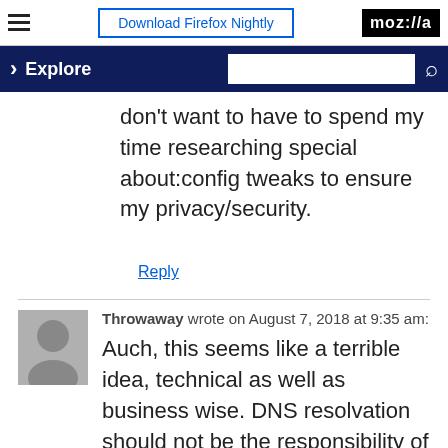Download Firefox Nightly | moz://a | Explore
don't want to have to spend my time researching special about:config tweaks to ensure my privacy/security.
Reply
Throwaway wrote on August 7, 2018 at 9:35 am:
Auch, this seems like a terrible idea, technical as well as business wise. DNS resolvation should not be the responsibility of a browser but the OS's, not even to mention overriding the default DNS resolver by default.
First of all, one footn and I think "s.d...